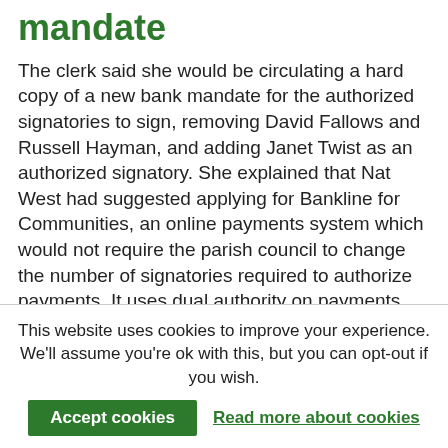mandate
The clerk said she would be circulating a hard copy of a new bank mandate for the authorized signatories to sign, removing David Fallows and Russell Hayman, and adding Janet Twist as an authorized signatory.  She explained that Nat West had suggested applying for Bankline for Communities, an online payments system which would not require the parish council to change the number of signatories required to authorize payments.  It uses dual authority on payments.
ACTION: Clerk to apply for Bankline for
This website uses cookies to improve your experience. We'll assume you're ok with this, but you can opt-out if you wish.